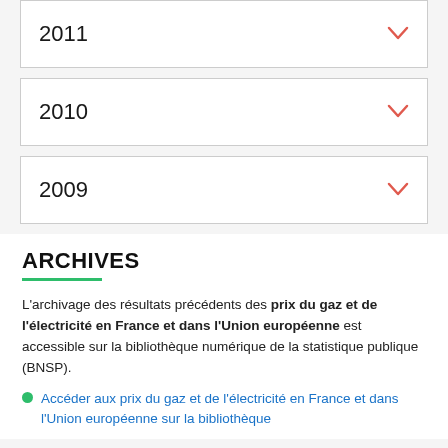2011
2010
2009
ARCHIVES
L'archivage des résultats précédents des prix du gaz et de l'électricité en France et dans l'Union européenne est accessible sur la bibliothèque numérique de la statistique publique (BNSP).
Accéder aux prix du gaz et de l'électricité en France et dans l'Union européenne sur la bibliothèque